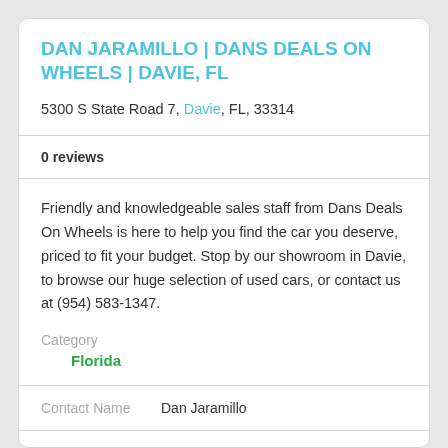DAN JARAMILLO | DANS DEALS ON WHEELS | DAVIE, FL
5300 S State Road 7, Davie, FL, 33314
0 reviews
Friendly and knowledgeable sales staff from Dans Deals On Wheels is here to help you find the car you deserve, priced to fit your budget. Stop by our showroom in Davie, to browse our huge selection of used cars, or contact us at (954) 583-1347.
Category
Florida
Contact Name    Dan Jaramillo
Category    Used Car Dealership